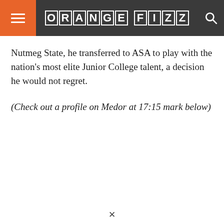ORANGE FIZZ
Nutmeg State, he transferred to ASA to play with the nation's most elite Junior College talent, a decision he would not regret.
(Check out a profile on Medor at 17:15 mark below)